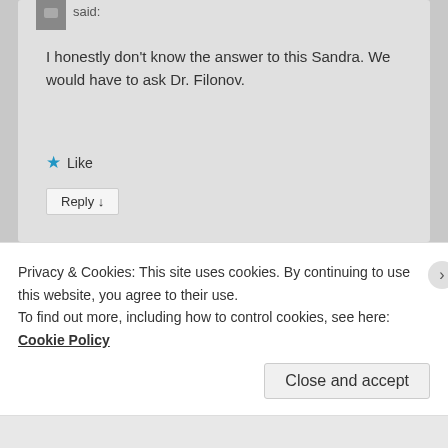said:
I honestly don't know the answer to this Sandra. We would have to ask Dr. Filonov.
★ Like
Reply ↓
Tom Anderson
on May 27, 2021 at 5:57 PM said:
Privacy & Cookies: This site uses cookies. By continuing to use this website, you agree to their use. To find out more, including how to control cookies, see here: Cookie Policy
Close and accept